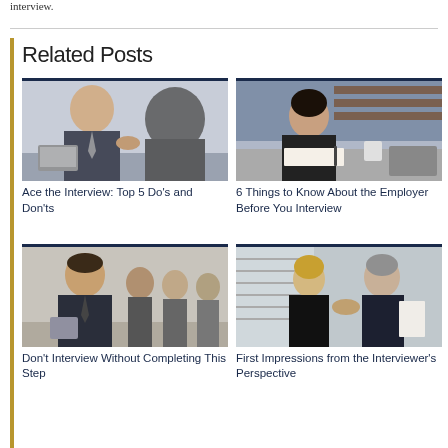interview.
Related Posts
[Figure (photo): Man in suit shaking hands with interviewer across desk in office setting]
Ace the Interview: Top 5 Do's and Don'ts
[Figure (photo): Woman in black turtleneck sitting at desk in modern office, looking serious]
6 Things to Know About the Employer Before You Interview
[Figure (photo): Man in suit smiling in foreground with group of people in background waiting in lobby]
Don't Interview Without Completing This Step
[Figure (photo): Business woman in black shaking hands with older grey-haired man in suit in office hallway]
First Impressions from the Interviewer's Perspective